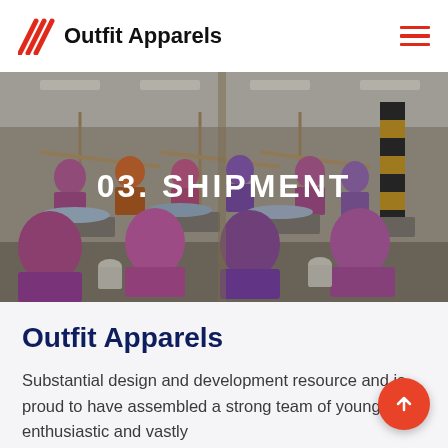Outfit Apparels
[Figure (photo): Wide-angle photo of a garment factory floor with rows of workers, mostly women wearing colorful headscarves, sewing at industrial machines. Overhead tools/racks are visible. Text overlay reads '03. SHIPMENT'.]
Outfit Apparels
Substantial design and development resource and is proud to have assembled a strong team of young enthusiastic and vastly